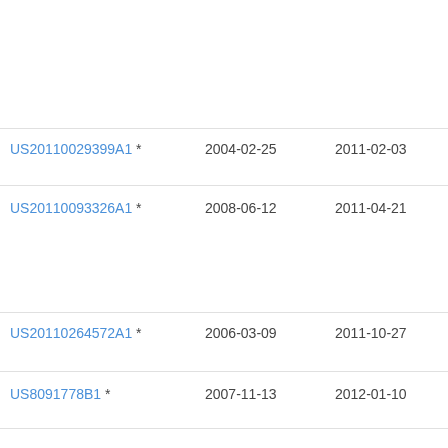| Publication number | Filing date | Publication date | Inventor |
| --- | --- | --- | --- |
| US20110029399A1 * | 2004-02-25 | 2011-02-03 | Ash M |
| US20110093326A1 * | 2008-06-12 | 2011-04-21 | Alp Mo |
| US20110264572A1 * | 2006-03-09 | 2011-10-27 | Rob Cuc |
| US8091778B1 * | 2007-11-13 | 2012-01-10 | Die R... |